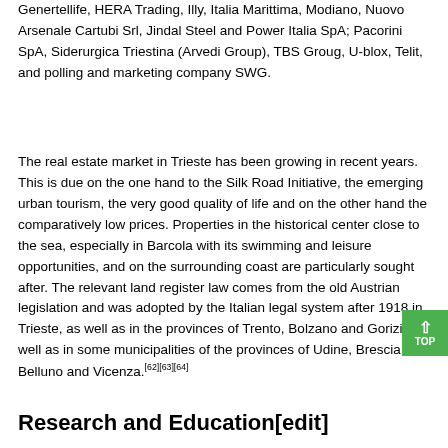Genertellife, HERA Trading, Illy, Italia Marittima, Modiano, Nuovo Arsenale Cartubi Srl, Jindal Steel and Power Italia SpA; Pacorini SpA, Siderurgica Triestina (Arvedi Group), TBS Groug, U-blox, Telit, and polling and marketing company SWG.
The real estate market in Trieste has been growing in recent years. This is due on the one hand to the Silk Road Initiative, the emerging urban tourism, the very good quality of life and on the other hand the comparatively low prices. Properties in the historical center close to the sea, especially in Barcola with its swimming and leisure opportunities, and on the surrounding coast are particularly sought after. The relevant land register law comes from the old Austrian legislation and was adopted by the Italian legal system after 1918 in Trieste, as well as in the provinces of Trento, Bolzano and Gorizia as well as in some municipalities of the provinces of Udine, Brescia, Belluno and Vicenza.[62][63][64]
Research and Education[edit]